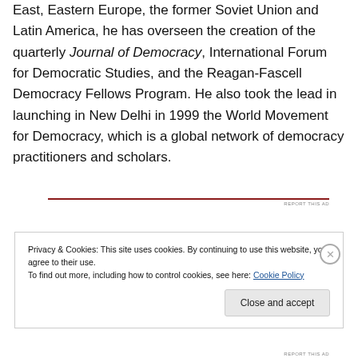East, Eastern Europe, the former Soviet Union and Latin America, he has overseen the creation of the quarterly Journal of Democracy, International Forum for Democratic Studies, and the Reagan-Fascell Democracy Fellows Program. He also took the lead in launching in New Delhi in 1999 the World Movement for Democracy, which is a global network of democracy practitioners and scholars.
Privacy & Cookies: This site uses cookies. By continuing to use this website, you agree to their use. To find out more, including how to control cookies, see here: Cookie Policy
Close and accept